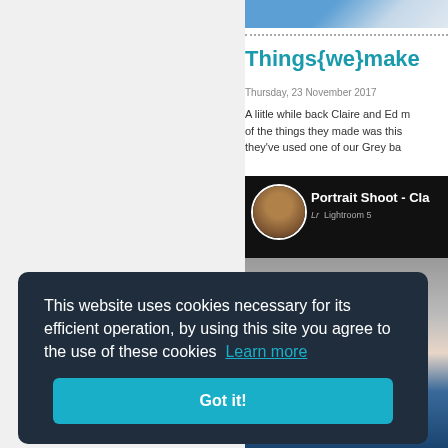[Figure (photo): Top right image strip showing blue/grey tones, partial photo]
Things{we}make
Thursday, 23 November 2017
A liitle while back Claire and Ed m... of the things they made was this ... they've used one of our Grey ba...
[Figure (screenshot): Video thumbnail showing 'Portrait Shoot - Cla...' with a circular avatar and Lightroom label]
[Figure (photo): Lower photo of a woman with dark hair wearing blue top and necklace]
This website uses cookies necessary for its efficient operation, by using this site you agree to the use of these cookies  Learn more
Got it!